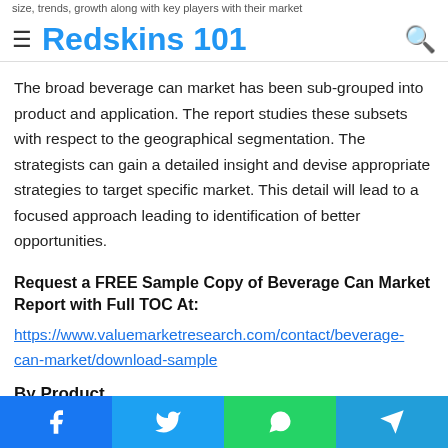≡ Redskins 101 🔍
The broad beverage can market has been sub-grouped into product and application. The report studies these subsets with respect to the geographical segmentation. The strategists can gain a detailed insight and devise appropriate strategies to target specific market. This detail will lead to a focused approach leading to identification of better opportunities.
Request a FREE Sample Copy of Beverage Can Market Report with Full TOC At:
https://www.valuemarketresearch.com/contact/beverage-can-market/download-sample
By Product
Facebook  Twitter  WhatsApp  Telegram